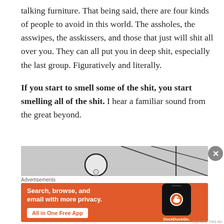talking furniture. That being said, there are four kinds of people to avoid in this world. The assholes, the asswipes, the asskissers, and those that just will shit all over you. They can all put you in deep shit, especially the last group. Figuratively and literally.
If you start to smell some of the shit, you start smelling all of the shit. I hear a familiar sound from the great beyond.
[Figure (illustration): Partial illustration showing a cartoon figure with a circular head against a gray background with diagonal lines]
[Figure (screenshot): DuckDuckGo advertisement banner with orange background. Text reads: Search, browse, and email with more privacy. All in One Free App. Shows a phone mockup with DuckDuckGo logo.]
Advertisements